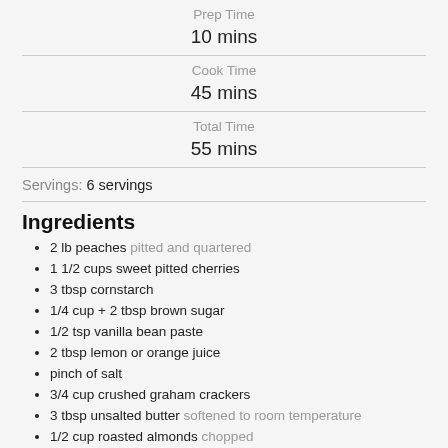Prep Time
10 mins
Cook Time
45 mins
Total Time
55 mins
Servings: 6 servings
Ingredients
2 lb peaches pitted and quartered
1 1/2 cups sweet pitted cherries
3 tbsp cornstarch
1/4 cup + 2 tbsp brown sugar
1/2 tsp vanilla bean paste
2 tbsp lemon or orange juice
pinch of salt
3/4 cup crushed graham crackers
3 tbsp unsalted butter softened to room temperature
1/2 cup roasted almonds chopped